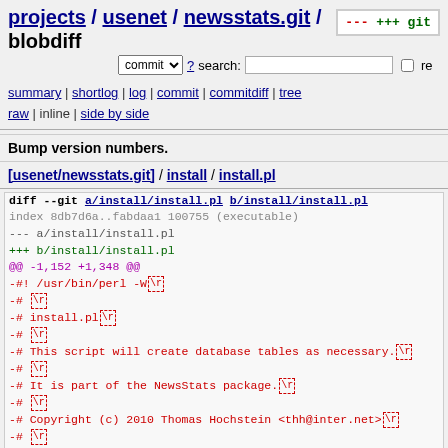projects / usenet / newsstats.git / blobdiff
commit ? search: re
summary | shortlog | log | commit | commitdiff | tree
raw | inline | side by side
Bump version numbers.
[usenet/newsstats.git] / install / install.pl
diff --git a/install/install.pl b/install/install.pl
index 8db7d6a..fabdaa1 100755 (executable)
--- a/install/install.pl
+++ b/install/install.pl
@@ -1,152 +1,348 @@
-#! /usr/bin/perl -W\r
-# \r
-# install.pl\r
-# \r
-# This script will create database tables as necessary.\r
-# \r
-# It is part of the NewsStats package.\r
-# \r
-# Copyright (c) 2010 Thomas Hochstein <thh@inter.net>\r
-# \r
-# It can be redistributed and/or modified under the same te
-# which Perl itself is published.\r